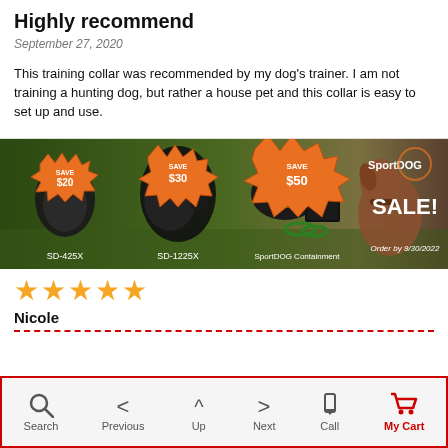Highly recommend
September 27, 2020
This training collar was recommended by my dog's trainer. I am not training a hunting dog, but rather a house pet and this collar is easy to set up and use.
[Figure (photo): SportDOG sale advertisement banner showing three dog training collars (SD-425X save $20, SD-1225X save $30, SportDOG Containment save $50) and a brown dog, with SportDOG brand logo and text 'SALE! Order by 9/30/2022']
★★★★★ Nicole
Search | Previous | Up | Next | Call | My Cart